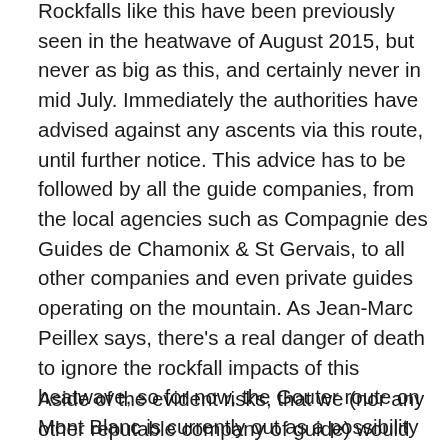Rockfalls like this have been previously seen in the heatwave of August 2015, but never as big as this, and certainly never in mid July. Immediately the authorities have advised against any ascents via this route, until further notice. This advice has to be followed by all the guide companies, from the local agencies such as Compagnie des Guides de Chamonix & St Gervais, to all other companies and even private guides operating on the mountain. As Jean-Marc Peillex says, there's a real danger of death to ignore the rockfall impacts of this heatwave, so for now, the Gouter route on Mont Blanc is currently out as a possibility for an ascent.
Aside of the evident risks, that we (nor any other reputable company of guide) would not expose you too, we obviously need to consider the Plan B for this heatwave episode in the Alps. Mont Blanc has other routes, but all